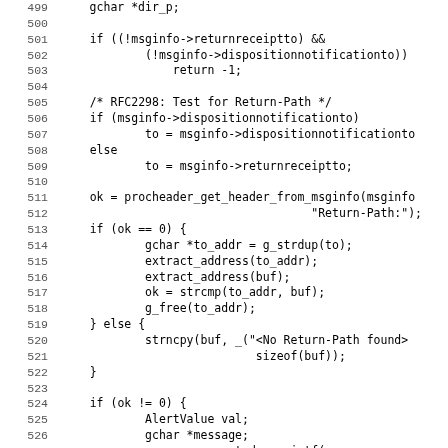[Figure (screenshot): Source code listing showing C code lines 499-531 dealing with message receipt notification, return path checking, and alert value handling.]